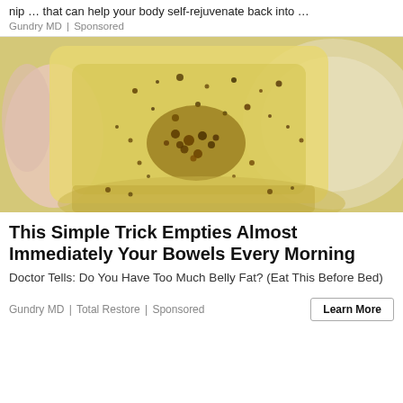nip … that can help your body self-rejuvenate back into …
Gundry MD | Sponsored
[Figure (photo): Close-up photo of a yellowish translucent substance with dark golden granules/speckles being held up, with a glass bowl in the background]
This Simple Trick Empties Almost Immediately Your Bowels Every Morning
Doctor Tells: Do You Have Too Much Belly Fat? (Eat This Before Bed)
Gundry MD | Total Restore | Sponsored
Learn More